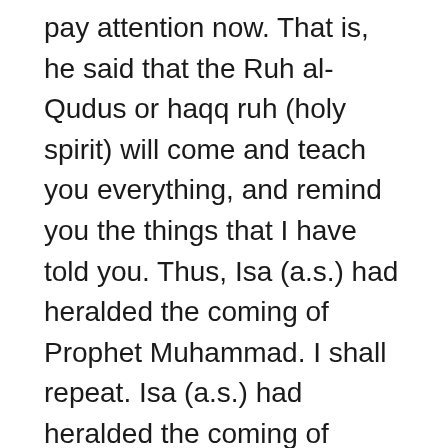pay attention now. That is, he said that the Ruh al-Qudus or haqq ruh (holy spirit) will come and teach you everything, and remind you the things that I have told you. Thus, Isa (a.s.) had heralded the coming of Prophet Muhammad. I shall repeat. Isa (a.s.) had heralded the coming of Prophet Muhammad (asw). That is, he said, “Believe in the Last Prophet.” Who said it? Isa (a.s.) said, “Believe in the Last Prophet.”
See the 14th verse of Surah al-Maidah [5].
These decisions were made in AD 325, and 3